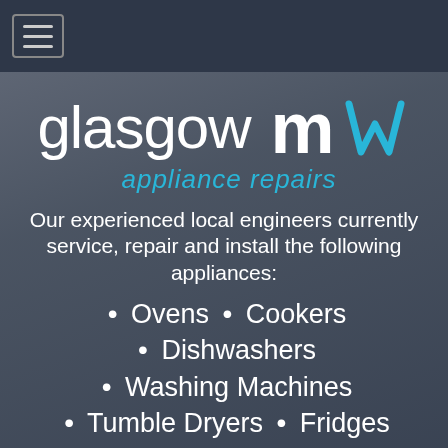Navigation menu (hamburger icon)
[Figure (logo): Glasgow Appliance Repairs logo — 'glasgow m' in white with a blue stylized W/M icon, and 'appliance repairs' in cyan italic below]
Our experienced local engineers currently service, repair and install the following appliances:
• Ovens  • Cookers
• Dishwashers
• Washing Machines
• Tumble Dryers  • Fridges